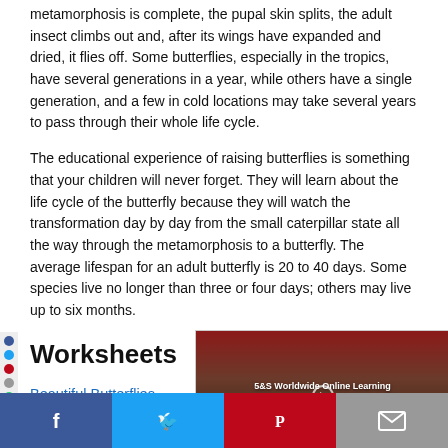metamorphosis is complete, the pupal skin splits, the adult insect climbs out and, after its wings have expanded and dried, it flies off. Some butterflies, especially in the tropics, have several generations in a year, while others have a single generation, and a few in cold locations may take several years to pass through their whole life cycle.
The educational experience of raising butterflies is something that your children will never forget. They will learn about the life cycle of the butterfly because they will watch the transformation day by day from the small caterpillar state all the way through the metamorphosis to a butterfly. The average lifespan for an adult butterfly is 20 to 40 days. Some species live no longer than three or four days; others may live up to six months.
[Figure (screenshot): Screenshot of S&S Worldwide Online Learning website with video player showing a classroom scene]
Worksheets
Beautiful Butterflies
Butterfly Life Cycle